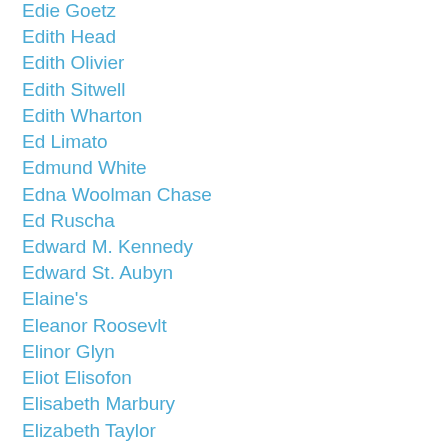Edie Goetz
Edith Head
Edith Olivier
Edith Sitwell
Edith Wharton
Ed Limato
Edmund White
Edna Woolman Chase
Ed Ruscha
Edward M. Kennedy
Edward St. Aubyn
Elaine's
Eleanor Roosevlt
Elinor Glyn
Eliot Elisofon
Elisabeth Marbury
Elizabeth Taylor
El Morocco
Elsa Duquette
Elsa Maxwell
Elsa Schiaparelli